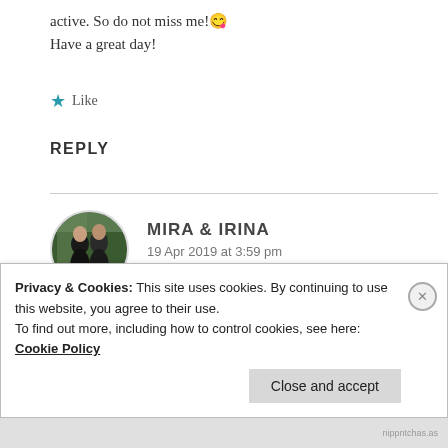active. So do not miss me! 😉
Have a great day!
★ Like
REPLY
[Figure (photo): Circular avatar photo of two women in black clothing with greenery background — Mira & Irina]
MIRA & IRINA
19 Apr 2019 at 3:59 pm
Privacy & Cookies: This site uses cookies. By continuing to use this website, you agree to their use.
To find out more, including how to control cookies, see here: Cookie Policy
Close and accept